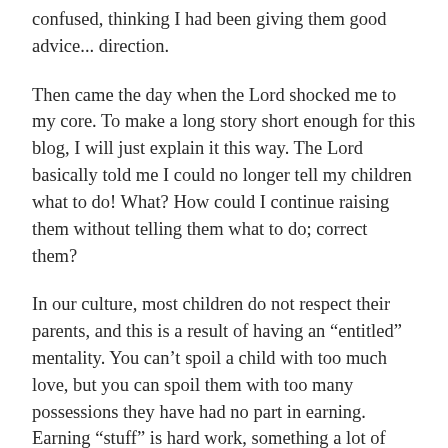confused, thinking I had been giving them good advice... direction.
Then came the day when the Lord shocked me to my core. To make a long story short enough for this blog, I will just explain it this way. The Lord basically told me I could no longer tell my children what to do! What? How could I continue raising them without telling them what to do; correct them?
In our culture, most children do not respect their parents, and this is a result of having an “entitled” mentality. You can’t spoil a child with too much love, but you can spoil them with too many possessions they have had no part in earning. Earning “stuff” is hard work, something a lot of children in this toxic culture know nothing about.